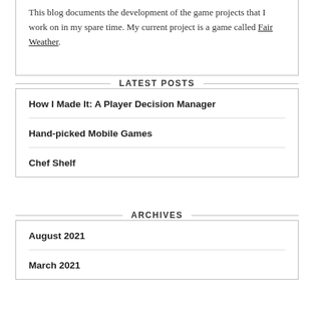This blog documents the development of the game projects that I work on in my spare time. My current project is a game called Fair Weather.
LATEST POSTS
How I Made It: A Player Decision Manager
Hand-picked Mobile Games
Chef Shelf
ARCHIVES
August 2021
March 2021